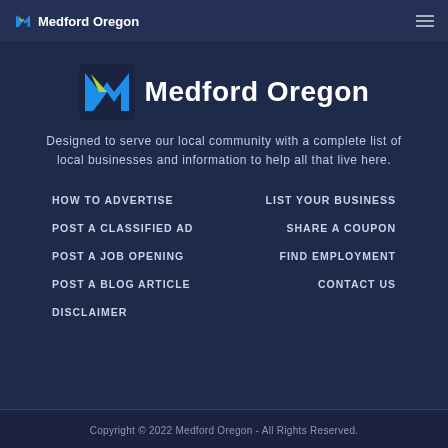Medford Oregon
[Figure (logo): Medford Oregon logo with blue M and green play icon, large centered version]
Medford Oregon
Designed to serve our local community with a complete list of local businesses and information to help all that live here.
HOW TO ADVERTISE
LIST YOUR BUSINESS
POST A CLASSIFIED AD
SHARE A COUPON
POST A JOB OPENING
FIND EMPLOYMENT
POST A BLOG ARTICLE
CONTACT US
DISCLAIMER
Copyright © 2022 Medford Oregon - All Rights Reserved.